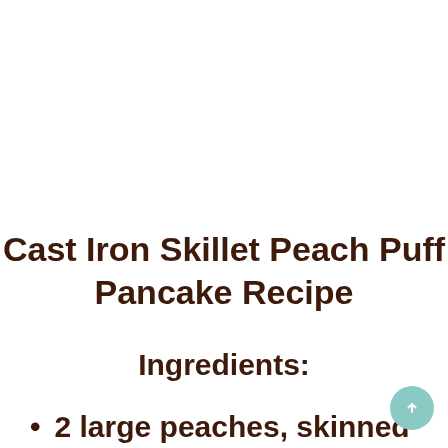Cast Iron Skillet Peach Puff Pancake Recipe
Ingredients:
2 large peaches, skinned and chopped into 1 inch